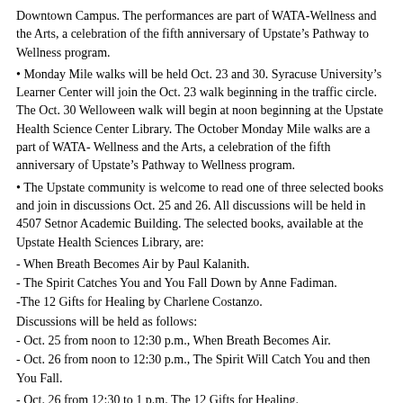Downtown Campus. The performances are part of WATA-Wellness and the Arts, a celebration of the fifth anniversary of Upstate's Pathway to Wellness program.
• Monday Mile walks will be held Oct. 23 and 30. Syracuse University's Learner Center will join the Oct. 23 walk beginning in the traffic circle. The Oct. 30 Welloween walk will begin at noon beginning at the Upstate Health Science Center Library. The October Monday Mile walks are a part of WATA- Wellness and the Arts, a celebration of the fifth anniversary of Upstate's Pathway to Wellness program.
• The Upstate community is welcome to read one of three selected books and join in discussions Oct. 25 and 26. All discussions will be held in 4507 Setnor Academic Building. The selected books, available at the Upstate Health Sciences Library, are:
- When Breath Becomes Air by Paul Kalanith.
- The Spirit Catches You and You Fall Down by Anne Fadiman.
-The 12 Gifts for Healing by Charlene Costanzo.
Discussions will be held as follows:
- Oct. 25 from noon to 12:30 p.m., When Breath Becomes Air.
- Oct. 26 from noon to 12:30 p.m., The Spirit Will Catch You and then You Fall.
- Oct. 26 from 12:30 to 1 p.m. The 12 Gifts for Healing.
• Join Deirdre Neilen, PhD, Center for Bioethics and Humanities, Upstate Medical University, on Friday, Oct. 27 between noon and 12:30 p.m. for a 15-minute writing workout.
Return to top>
Oct. 23 is deadline to participate in Upstate Golisano Children's Hospital Halloween parade